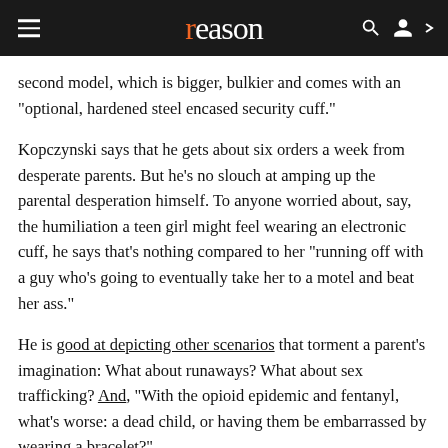reason
second model, which is bigger, bulkier and comes with an "optional, hardened steel encased security cuff."
Kopczynski says that he gets about six orders a week from desperate parents. But he's no slouch at amping up the parental desperation himself. To anyone worried about, say, the humiliation a teen girl might feel wearing an electronic cuff, he says that's nothing compared to her "running off with a guy who's going to eventually take her to a motel and beat her ass."
He is good at depicting other scenarios that torment a parent's imagination: What about runaways? What about sex trafficking? And, "With the opioid epidemic and fentanyl, what's worse: a dead child, or having them be embarrassed by wearing a bracelet?"
Parents do not need a court order to clamp one of these